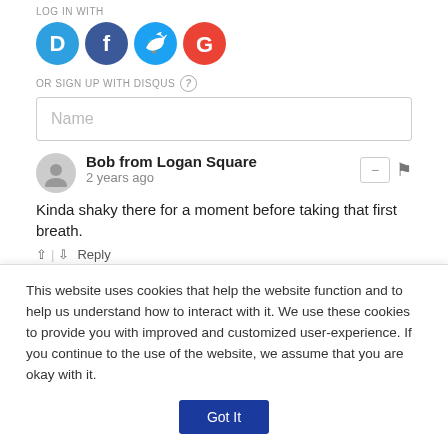LOG IN WITH
[Figure (infographic): Four social login icons: Disqus (blue speech bubble with D), Facebook (dark blue circle with F), Twitter (light blue circle with bird), Google (red circle with G)]
OR SIGN UP WITH DISQUS ?
Name
Bob from Logan Square
2 years ago
Kinda shaky there for a moment before taking that first breath.
↑ | ↓  Reply
✉ Subscribe  ⊕ Add Disqus  ▲ Do Not Sell My Data  DISQUS
This website uses cookies that help the website function and to help us understand how to interact with it. We use these cookies to provide you with improved and customized user-experience. If you continue to the use of the website, we assume that you are okay with it.
Got It